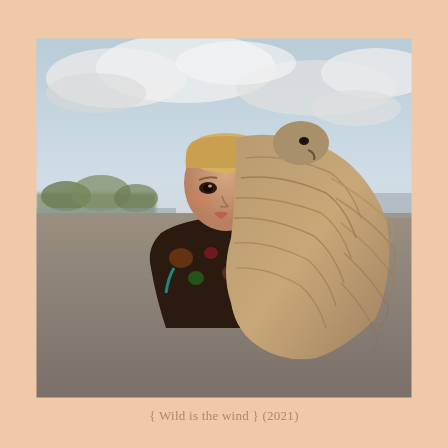[Figure (photo): A young blonde girl with hair pulled back, wearing a dark floral patterned shirt, stands in an open flat landscape with a cloudy sky behind her. A large bird of prey (hawk or eagle) with brown and beige feathers is perched on her shoulder/arm, its wing partially covering her face. The background shows a flat tilled field, distant treeline, and overcast sky.]
{ Wild is the wind } (2021)